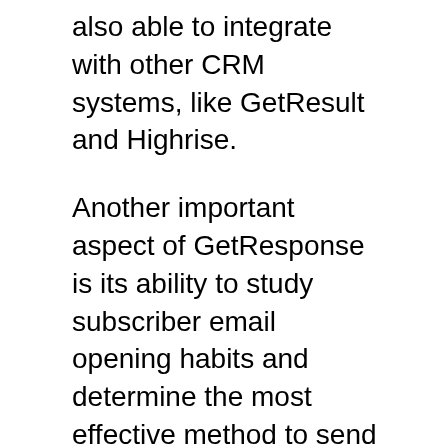also able to integrate with other CRM systems, like GetResult and Highrise.
Another important aspect of GetResponse is its ability to study subscriber email opening habits and determine the most effective method to send emails. This allows you to make your marketing campaigns more effectively and increase the amount of revenue. You can also make use of the landing page creator to create a more personalized landing page that will attract your readers' interest. This can enhance your email marketing strategy and help you save time and money. GetResponse is a great platform for marketing automation.
Apart from monitoring and analyzing your